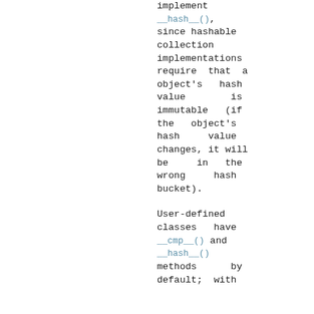implement __hash__(), since hashable collection implementations require that a object's hash value is immutable (if the object's hash value changes, it will be in the wrong hash bucket).
User-defined classes have __cmp__() and __hash__() methods by default; with